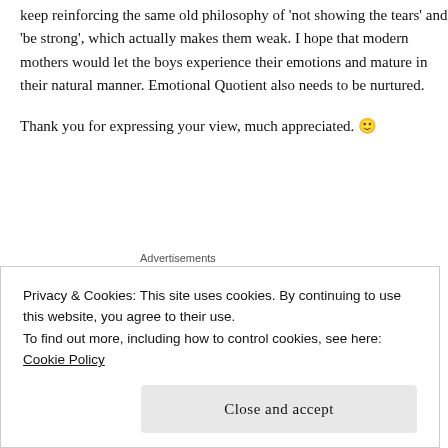keep reinforcing the same old philosophy of 'not showing the tears' and 'be strong', which actually makes them weak. I hope that modern mothers would let the boys experience their emotions and mature in their natural manner. Emotional Quotient also needs to be nurtured.
Thank you for expressing your view, much appreciated. 🙂
Advertisements
[Figure (other): Advertisement banner: dark navy background with text 'Opinions. We all have them!' and WordPress logo and Fresno Newbee logos]
aryl says:
Privacy & Cookies: This site uses cookies. By continuing to use this website, you agree to their use.
To find out more, including how to control cookies, see here: Cookie Policy
Close and accept